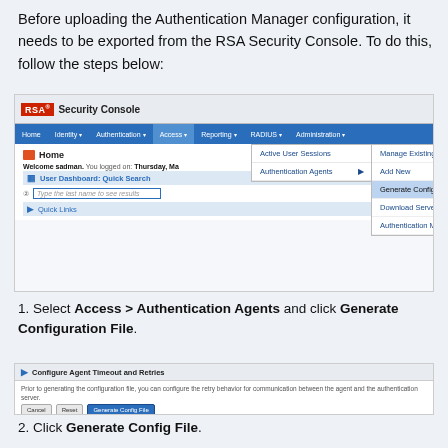Before uploading the Authentication Manager configuration, it needs to be exported from the RSA Security Console. To do this, follow the steps below:
[Figure (screenshot): RSA Security Console screenshot showing the Access menu expanded with Authentication Agents submenu open, highlighting 'Generate Configuration File' option]
1. Select Access > Authentication Agents and click Generate Configuration File.
[Figure (screenshot): RSA Security Console screenshot showing the 'Configure Agent Timeout and Retries' panel with Cancel, Reset, and Generate Config File buttons]
2. Click Generate Config File.